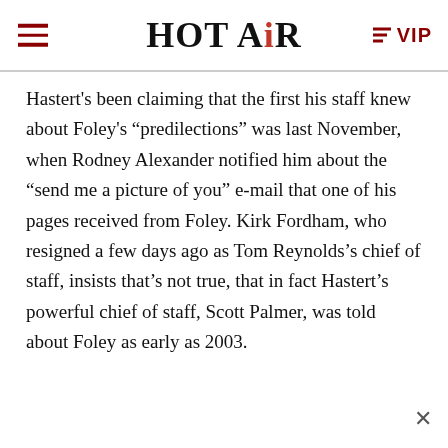HOT AIR | VIP
Hastert’s been claiming that the first his staff knew about Foley’s “predilections” was last November, when Rodney Alexander notified him about the “send me a picture of you” e-mail that one of his pages received from Foley. Kirk Fordham, who resigned a few days ago as Tom Reynolds’s chief of staff, insists that’s not true, that in fact Hastert’s powerful chief of staff, Scott Palmer, was told about Foley as early as 2003.